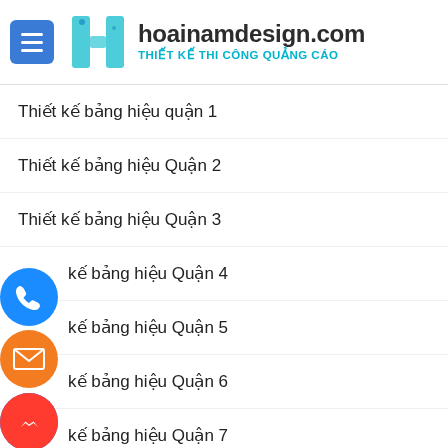hoainamdesign.com – THIẾT KẾ THI CÔNG QUẢNG CÁO
Thiết kế bảng hiệu quận 1
Thiết kế bảng hiệu Quận 2
Thiết kế bảng hiệu Quận 3
Thiết kế bảng hiệu Quận 4
Thiết kế bảng hiệu Quận 5
Thiết kế bảng hiệu Quận 6
Thiết kế bảng hiệu Quận 7
[Figure (logo): hoainamdesign.com logo with H icon and tagline THIẾT KẾ THI CÔNG QUẢNG CÁO]